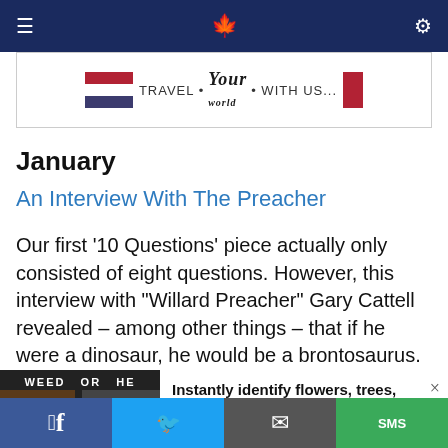Navigation bar with menu, logo, and search icons
[Figure (illustration): Advertisement banner: TRAVEL Your world WITH US with American flag graphic]
January
An Interview With The Preacher
Our first '10 Questions' piece actually only consisted of eight questions. However, this interview with "Willard Preacher" Gary Cattell revealed – among other things – that if he were a dinosaur, he would be a brontosaurus.
[Figure (screenshot): Bottom ad overlay: WEED OR HE[RB] image with PictureThis ad - 'Instantly identify flowers, trees, weeds, etc.' Sponsored]
[Figure (infographic): Social sharing bar with Facebook, Twitter, email, and SMS buttons]